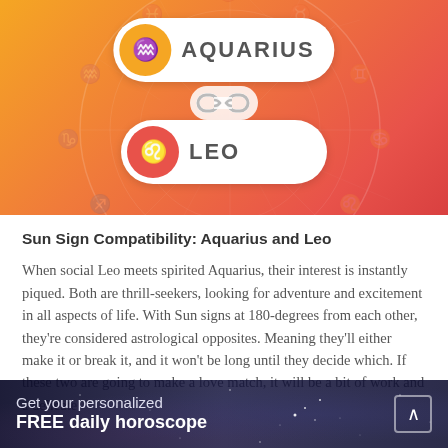[Figure (infographic): Astrology compatibility graphic showing Aquarius and Leo zodiac signs as pill-shaped badges connected by a chain/link icon, set against an orange-red gradient background with a faint zodiac wheel.]
Sun Sign Compatibility: Aquarius and Leo
When social Leo meets spirited Aquarius, their interest is instantly piqued. Both are thrill-seekers, looking for adventure and excitement in all aspects of life. With Sun signs at 180-degrees from each other, they’re considered astrological opposites. Meaning they’ll either make it or break it, and it won’t be long until they decide which. If these two are going to make a love match, it will be a bit of work and a delicate
[Figure (infographic): Dark space/night sky banner advertisement reading 'Get your personalized FREE daily horoscope' with an up-arrow button on the right.]